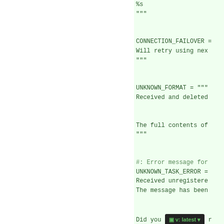%s
"""

CONNECTION_FAILOVER =
Will retry using next
"""

UNKNOWN_FORMAT = """
Received and deleted

The full contents of
"""

#: Error message for
UNKNOWN_TASK_ERROR =
Received unregistered
The message has been

Did you remember to r
Or maybe you're using

Please see
https://docs.celery...